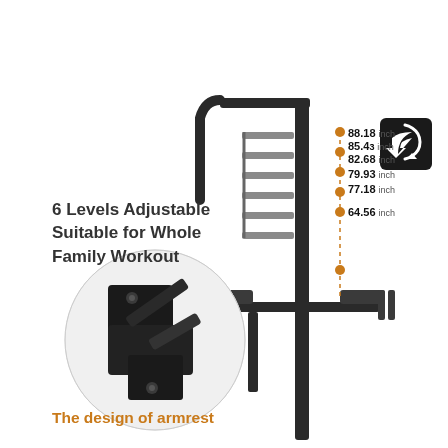[Figure (photo): Product photo of a pull-up bar / power tower fitness equipment showing adjustable height levels with orange dotted measurement annotations (88.18, 85.43, 82.68, 79.93, 77.18, 64.56 inch), a close-up circular inset of the armrest adjustment mechanism, and a black arrow badge icon]
6 Levels Adjustable Suitable for Whole Family Workout
The design of armrest
88.18 inch
85.43 inch
82.68 inch
79.93 inch
77.18 inch
64.56 inch